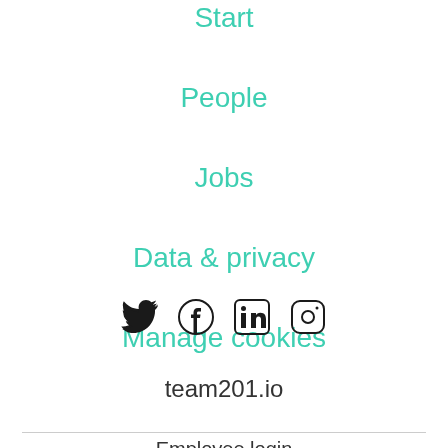Start
People
Jobs
Data & privacy
Manage cookies
[Figure (illustration): Social media icons: Twitter, Facebook, LinkedIn, Instagram]
team201.io
Employee login